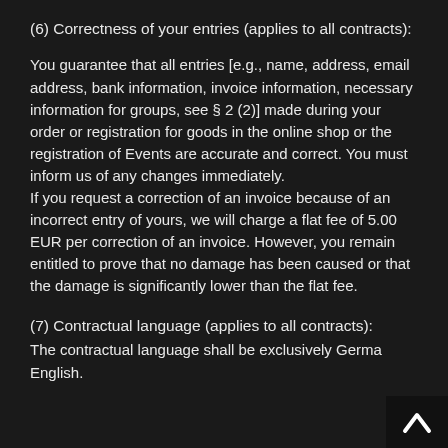(6) Correctness of your entries (applies to all contracts):
You guarantee that all entries [e.g., name, address, email address, bank information, invoice information, necessary information for groups, see § 2 (2)] made during your order or registration for goods in the online shop or the registration of Events are accurate and correct. You must inform us of any changes immediately. If you request a correction of an invoice because of an incorrect entry of yours, we will charge a flat fee of 5.00 EUR per correction of an invoice. However, you remain entitled to prove that no damage has been caused or that the damage is significantly lower than the flat fee.
(7) Contractual language (applies to all contracts):
The contractual language shall be exclusively German and English.